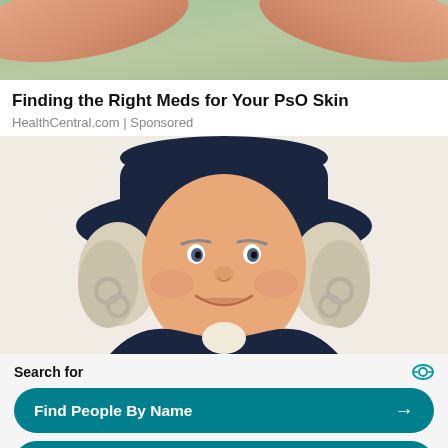[Figure (photo): Close-up photo of hands/skin, partially visible at the top of the page, with pinkish and greenish tones suggesting a psoriasis skin condition context.]
Finding the Right Meds for Your PsO Skin
HealthCentral.com | Sponsored
[Figure (illustration): Illustrated portrait of the Quaker Oats man — a smiling, rosy-cheeked figure wearing a dark navy wide-brimmed hat and colonial clothing with a white cravat, with white curly hair.]
Search for
Find People By Name →
Best Medicine For Back Pain →
Yahoo! Search | Sponsored